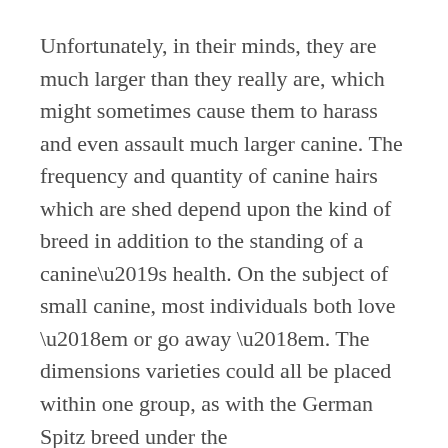Unfortunately, in their minds, they are much larger than they really are, which might sometimes cause them to harass and even assault much larger canine. The frequency and quantity of canine hairs which are shed depend upon the kind of breed in addition to the standing of a canine’s health. On the subject of small canine, most individuals both love ‘em or go away ‘em. The dimensions varieties could all be placed within one group, as with the German Spitz breed under the Fédération Cynologique Internationale guidelines, or the smallest types of a breed may be placed as a separate breed in the Toy Group or another group.
Small dogs that don’t shed are a canine proprietor’s ideal pet for themselves and their